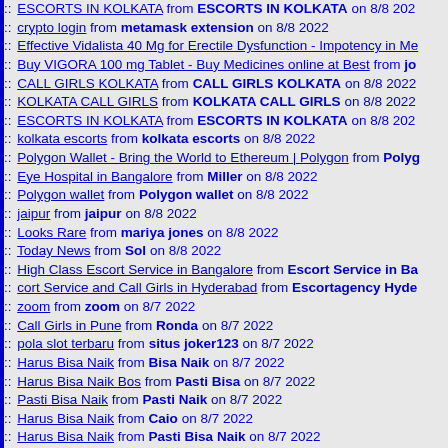ESCORTS IN KOLKATA from ESCORTS IN KOLKATA on 8/8 2022
crypto login from metamask extension on 8/8 2022
Effective Vidalista 40 Mg for Erectile Dysfunction - Impotency in Me
Buy VIGORA 100 mg Tablet - Buy Medicines online at Best from jo
CALL GIRLS KOLKATA from CALL GIRLS KOLKATA on 8/8 2022
KOLKATA CALL GIRLS from KOLKATA CALL GIRLS on 8/8 2022
ESCORTS IN KOLKATA from ESCORTS IN KOLKATA on 8/8 2022
kolkata escorts from kolkata escorts on 8/8 2022
Polygon Wallet - Bring the World to Ethereum | Polygon from Polyg
Eye Hospital in Bangalore from Miller on 8/8 2022
Polygon wallet from Polygon wallet on 8/8 2022
jaipur from jaipur on 8/8 2022
Looks Rare from mariya jones on 8/8 2022
Today News from Sol on 8/8 2022
High Class Escort Service in Bangalore from Escort Service in Ba
cort Service and Call Girls in Hyderabad from Escortagency Hyde
zoom from zoom on 8/7 2022
Call Girls in Pune from Ronda on 8/7 2022
pola slot terbaru from situs joker123 on 8/7 2022
Harus Bisa Naik from Bisa Naik on 8/7 2022
Harus Bisa Naik Bos from Pasti Bisa on 8/7 2022
Pasti Bisa Naik from Pasti Naik on 8/7 2022
Harus Bisa Naik from Caio on 8/7 2022
Harus Bisa Naik from Pasti Bisa Naik on 8/7 2022
Pasti Bisa Naik from Pasti Naik on 8/7 2022
Harus Bisa Naik from Bisa Naik on 8/7 2022
Yakin Naik from Harus Bisa Naik on 8/7 2022
Harus Bisa Naik from Pasti Bisa Naik on 8/7 2022
demo from demo on 8/7 2022
Buy Magic mushroom chocolate bars USA from Brain on 8/7 2022